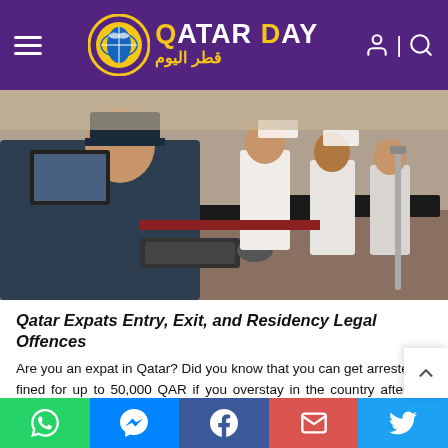QATAR DAY / قطر اليوم
[Figure (photo): A uniformed Qatari border/immigration officer seated at a computer workstation with keyboard and mouse, with Arabic men in traditional white thobes visible in the background at what appears to be an immigration or passport control area.]
Qatar Expats Entry, Exit, and Residency Legal Offences
Are you an expat in Qatar? Did you know that you can get arrested or fined for up to 50,000 QAR if you overstay in the country after the allowed duration of your entry or residence permit? You also need to pay a penalty of up to